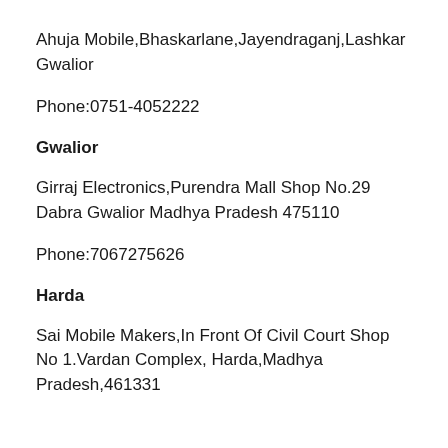Ahuja Mobile,Bhaskarlane,Jayendraganj,Lashkar Gwalior
Phone:0751-4052222
Gwalior
Girraj Electronics,Purendra Mall Shop No.29 Dabra Gwalior Madhya Pradesh 475110
Phone:7067275626
Harda
Sai Mobile Makers,In Front Of Civil Court Shop No 1.Vardan Complex, Harda,Madhya Pradesh,461331